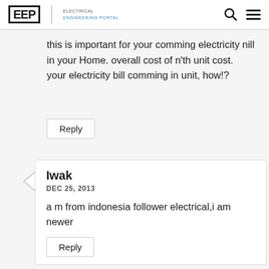EEP | ELECTRICAL ENGINEERING PORTAL
this is important for your comming electricity nill in your Home. overall cost of n'th unit cost.
your electricity bill comming in unit, how!?
Reply
Iwak
DEC 25, 2013
a m from indonesia follower electrical,i am newer
Reply